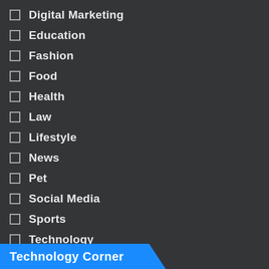Digital Marketing
Education
Fashion
Food
Health
Law
Lifestyle
News
Pet
Social Media
Sports
Technology
Travel
Technology Corner